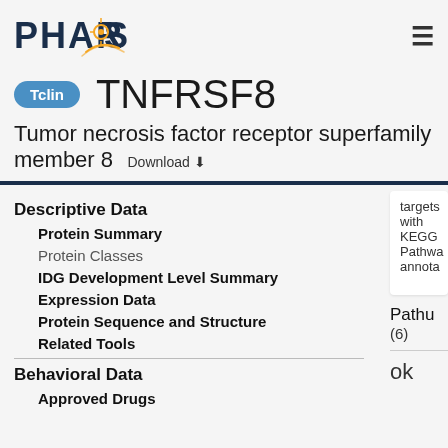PHAROS
TNFRSF8
Tumor necrosis factor receptor superfamily member 8  Download ↓
Descriptive Data
Protein Summary
Protein Classes
IDG Development Level Summary
Expression Data
Protein Sequence and Structure
Related Tools
Behavioral Data
Approved Drugs
targets with KEGG Pathway annota...
Pathu... (6)
ok